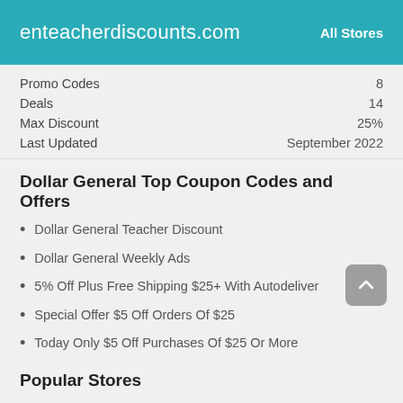enteacherdiscounts.com    All Stores
| Promo Codes | 8 |
| Deals | 14 |
| Max Discount | 25% |
| Last Updated | September 2022 |
Dollar General Top Coupon Codes and Offers
Dollar General Teacher Discount
Dollar General Weekly Ads
5% Off Plus Free Shipping $25+ With Autodeliver
Special Offer $5 Off Orders Of $25
Today Only $5 Off Purchases Of $25 Or More
Popular Stores